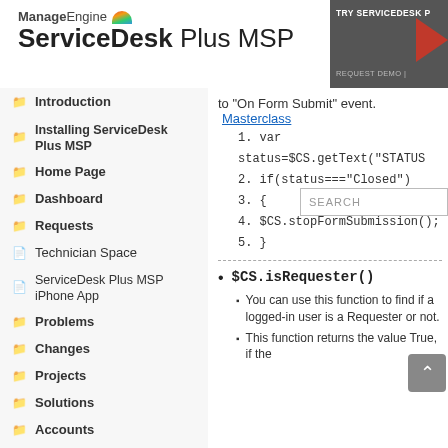ManageEngine ServiceDesk Plus MSP | TRY SERVICEDESK P... | REQUEST DEMO
to "On Form Submit" event.
Masterclass
Introduction
Installing ServiceDesk Plus MSP
Home Page
Dashboard
Requests
Technician Space
ServiceDesk Plus MSP iPhone App
Problems
Changes
Projects
Solutions
Accounts
Billing...
1. var status=$CS.getText("STATUS"
2. if(status==="Closed")
3. {
4. $CS.stopFormSubmission();
5. }
$CS.isRequester()
You can use this function to find if a logged-in user is a Requester or not.
This function returns the value True, if the